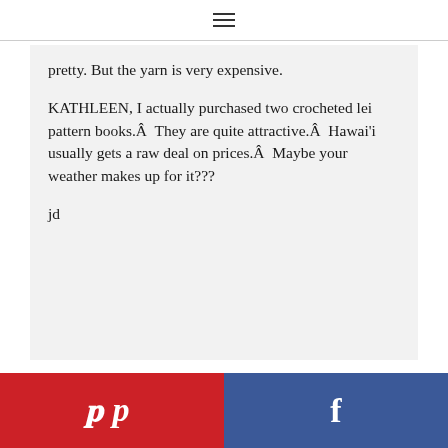≡
pretty. But the yarn is very expensive.
KATHLEEN, I actually purchased two crocheted lei pattern books.Â  They are quite attractive.Â  Hawai'i usually gets a raw deal on prices.Â  Maybe your weather makes up for it???
jd
Pinterest | Facebook